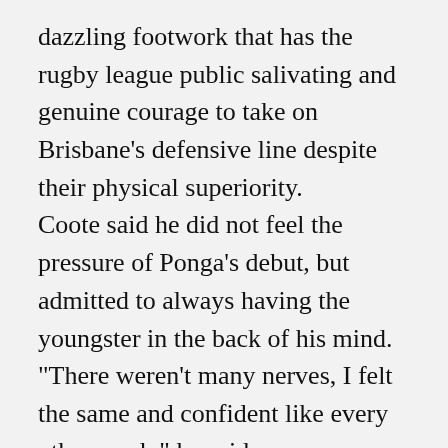dazzling footwork that has the rugby league public salivating and genuine courage to take on Brisbane's defensive line despite their physical superiority.
Coote said he did not feel the pressure of Ponga's debut, but admitted to always having the youngster in the back of his mind.
"There weren't many nerves, I felt the same and confident like every other week," he said.
"[Ponga] held his own, for a big game to be thrown in like that he did better than good.
"There are always players coming up through